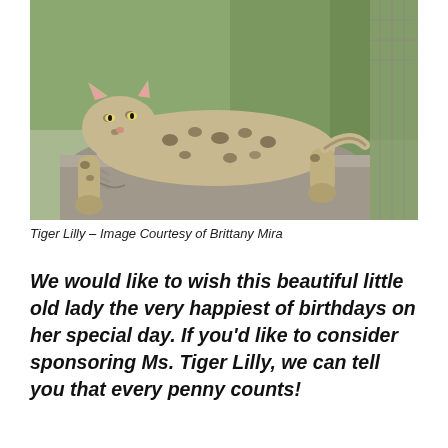[Figure (photo): A spotted wild cat (serval or similar) resting on top of a large concrete or stone structure in an outdoor enclosure with green vegetation in the background. The cat is sprawled across the top with its legs hanging over the side.]
Tiger Lilly – Image Courtesy of Brittany Mira
We would like to wish this beautiful little old lady the very happiest of birthdays on her special day. If you'd like to consider sponsoring Ms. Tiger Lilly, we can tell you that every penny counts!